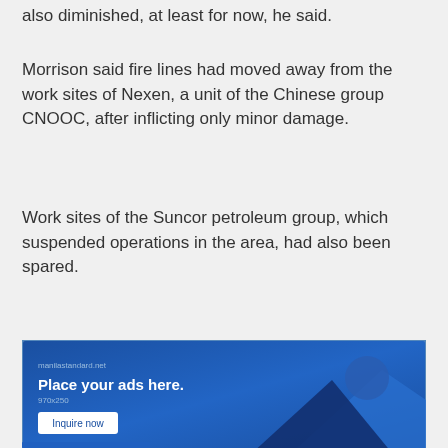also diminished, at least for now, he said.
Morrison said fire lines had moved away from the work sites of Nexen, a unit of the Chinese group CNOOC, after inflicting only minor damage.
Work sites of the Suncor petroleum group, which suspended operations in the area, had also been spared.
[Figure (illustration): Advertisement banner for manilastandard.net reading 'Place your ads here.' with 970x250 size and Inquire now button, blue background with mountain graphic shapes.]
The company said Sunday it had moved 10,000 people including employees, their families and local residents to safety.